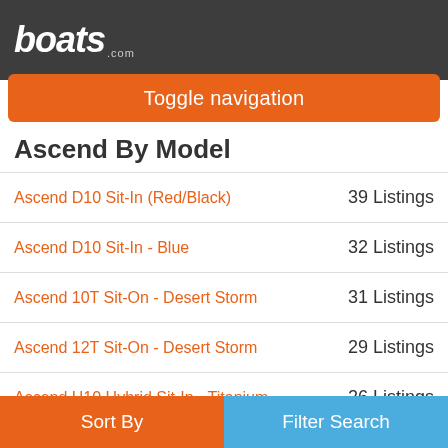boats.com
Toggle navigation
Ascend By Model
Ascend D10 Sit-In (Red/Black) — 39 Listings
Ascend D10 Sit-In - Blue — 32 Listings
Ascend 10T Sit-On - Desert Storm — 31 Listings
Ascend 12T Sit-On - Desert Storm — 29 Listings
Ascend H10 Hybrid Sit-In - Titanium — 26 Listings
Ascend FS10 Sit-In (Titanium) — 25 Listings
Ascend H10 Hybrid Sit-In - Desert Storm
Sort By | Filter Search